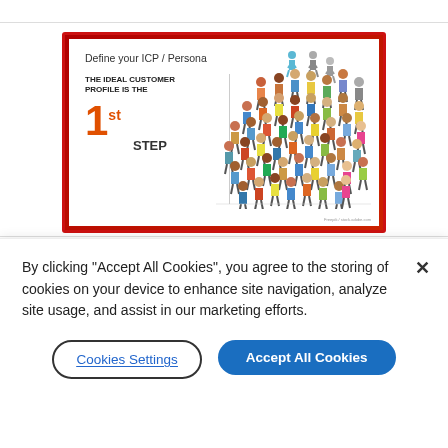[Figure (infographic): Slide image with red border showing 'Define your ICP / Persona' title. Left side reads 'THE IDEAL CUSTOMER PROFILE IS THE 1st STEP' in bold text with large orange '1' and superscript 'st'. Right side shows a crowd of illustrated people icons in various colors.]
By clicking “Accept All Cookies”, you agree to the storing of cookies on your device to enhance site navigation, analyze site usage, and assist in our marketing efforts.
Cookies Settings
Accept All Cookies